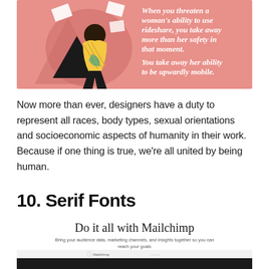[Figure (illustration): Pink background illustration showing a woman in yellow top and dark pants sitting with papers/documents flying around her. Bold white italic serif text overlaid reads: 'When you threaten a woman's ability to use rideshare, you take away more than her safety in that moment. You take away her ability to be upwardly mobile.']
Now more than ever, designers have a duty to represent all races, body types, sexual orientations and socioeconomic aspects of humanity in their work. Because if one thing is true, we're all united by being human.
10. Serif Fonts
[Figure (screenshot): Screenshot of Mailchimp website showing heading 'Do it all with Mailchimp' in serif font, subheading 'Bring your audience data, marketing channels, and insights together so you can reach your goals faster—all from a single platform.' with a partial interface screenshot below, and a dark bar at the very bottom.]